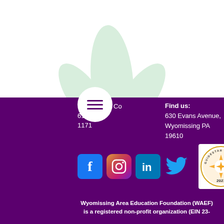[Figure (illustration): Light green plant/sprout illustration as background watermark in upper portion of page]
Co... 610-...739 x 1171
Find us:
630 Evans Avenue,
Wyomissing PA 19610
[Figure (infographic): Row of social media icons: Facebook (blue square), Instagram (gradient square), LinkedIn (blue square), Twitter (blue bird icon), and GuideStar Gold Transparency 2021 badge]
Wyomissing Area Education Foundation (WAEF) is a registered non-profit organization (EIN 23-...